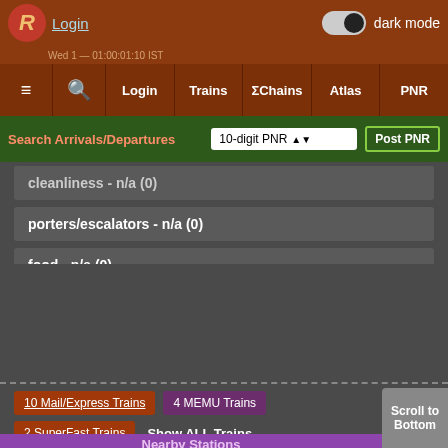Login | dark mode toggle
≡ | 🔍 | Login | Trains | ΣChains | Atlas | PNR
Search Arrivals/Departures | 10-digit PNR | Post PNR
cleanliness - n/a (0)
porters/escalators - n/a (0)
food - n/a (0)
transportation - n/a (0)
lodging - n/a (0)
railfanning - n/a (0)
sightseeing - n/a (0)
safety - n/a (0)
10 Mail/Express Trains | 4 MEMU Trains | 2 SuperFast Trains | Show ALL Trains
Nearby Stations
Scroll to Bottom